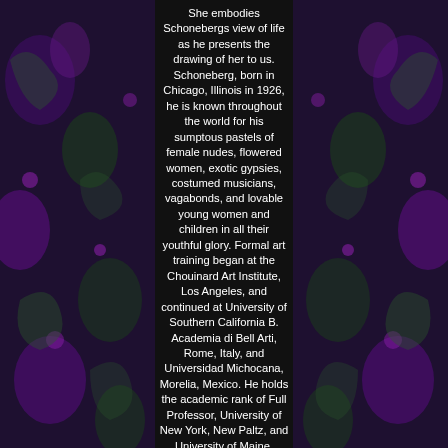She embodies Schonebergs view of life as he presents the drawing of her to us. Schoneberg, born in Chicago, Illinois in 1926, he is known throughout the world for his sumptous pastels of female nudes, flowered women, exotic gypsies, costumed musicians, vagabonds, and lovable young women and children in all their youthful glory. Formal art training began at the Chouinard Art Institute, Los Angeles, and continued at University of Southern California B. Academia di Bell Arti, Rome, Italy, and Universidad Michocana, Morelia, Mexico. He holds the academic rank of Full Professor, University of New York, New Paltz, and University of Maine, Gorham. One-man exhibitions include Galerie Seine38, Paris, France, Harrison Galleries, Vancouver, B. Freeport, Grand Bahamas Island, Galerie Del Cisne, Madrid, Spain, Fisk University Art Museum, Nashville, Tennessee, Anne Frank House Gallery Amsterdam, Brooks Memorial Art Museum, Memphis, Tennessee, Galerie Modern Nordisk Kunst, Gothenburg, Sweden and others throughout the United States. This Magnificent Enamel Plaque Portrait on Copper with Frame is in Very Good Condition. Powered by SixBit's eCommerce Solution.
The item "Magnificent Listed Artist Young Lady Portrait Painting Enamel on Copper withFrame" is in sale since Friday, December 27, 2019. This item is in